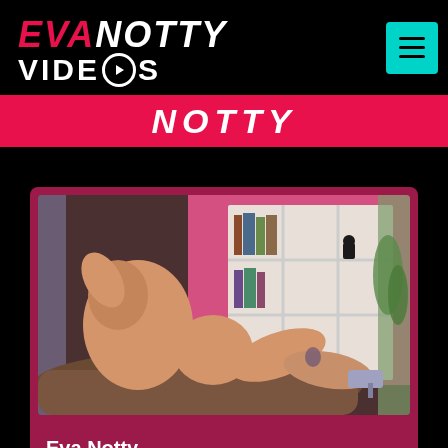EVA NOTTY VIDEOS
NOTTY
[Figure (photo): Eva Notty posing on a brown chaise lounge in front of a white bookshelf with pink background]
Eva Notty